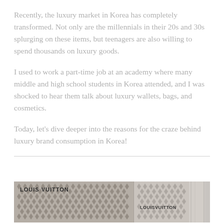Recently, the luxury market in Korea has completely transformed. Not only are the millennials in their 20s and 30s splurging on these items, but teenagers are also willing to spend thousands on luxury goods.
I used to work a part-time job at an academy where many middle and high school students in Korea attended, and I was shocked to hear them talk about luxury wallets, bags, and cosmetics.
Today, let's dive deeper into the reasons for the craze behind luxury brand consumption in Korea!
[Figure (photo): Photo of Louis Vuitton storefront with LV monogram pattern on facade, split into two sections, with a building visible on the right edge.]